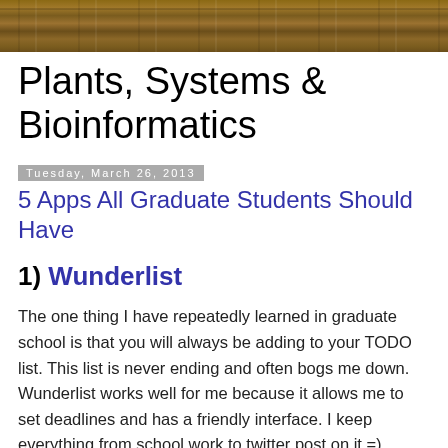[Figure (photo): Wood plank texture header image]
Plants, Systems & Bioinformatics
Tuesday, March 26, 2013
5 Apps All Graduate Students Should Have
1) Wunderlist
The one thing I have repeatedly learned in graduate school is that you will always be adding to your TODO list. This list is never ending and often bogs me down. Wunderlist works well for me because it allows me to set deadlines and has a friendly interface. I keep everything from school work to twitter post on it =)